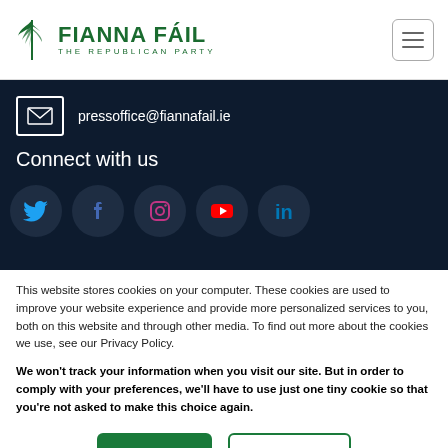[Figure (logo): Fianna Fáil - The Republican Party logo with harp symbol in green]
pressoffice@fiannafail.ie
Connect with us
[Figure (infographic): Social media icons: Twitter, Facebook, Instagram, YouTube, LinkedIn in circular dark buttons]
This website stores cookies on your computer. These cookies are used to improve your website experience and provide more personalized services to you, both on this website and through other media. To find out more about the cookies we use, see our Privacy Policy.
We won't track your information when you visit our site. But in order to comply with your preferences, we'll have to use just one tiny cookie so that you're not asked to make this choice again.